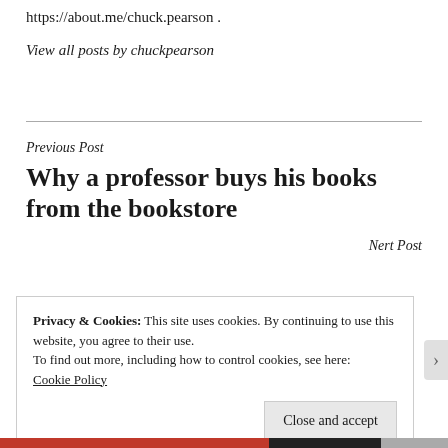https://about.me/chuck.pearson .
View all posts by chuckpearson
Previous Post
Why a professor buys his books from the bookstore
Nert Post
Privacy & Cookies: This site uses cookies. By continuing to use this website, you agree to their use.
To find out more, including how to control cookies, see here: Cookie Policy
Close and accept